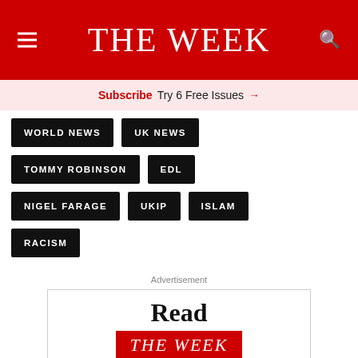THE WEEK
Subscribe Try 6 Free Issues →
WORLD NEWS
UK NEWS
TOMMY ROBINSON
EDL
NIGEL FARAGE
UKIP
ISLAM
RACISM
Advertisement
[Figure (other): Advertisement box showing 'Read THE WEEK' promotional banner]